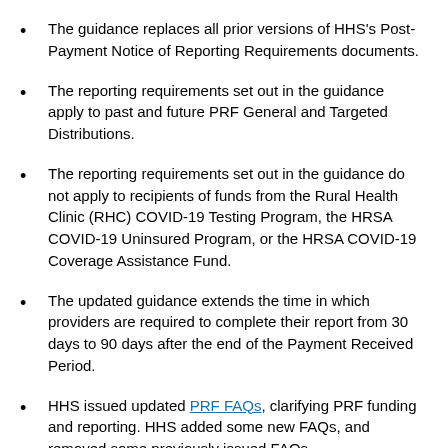The guidance replaces all prior versions of HHS's Post-Payment Notice of Reporting Requirements documents.
The reporting requirements set out in the guidance apply to past and future PRF General and Targeted Distributions.
The reporting requirements set out in the guidance do not apply to recipients of funds from the Rural Health Clinic (RHC) COVID-19 Testing Program, the HRSA COVID-19 Uninsured Program, or the HRSA COVID-19 Coverage Assistance Fund.
The updated guidance extends the time in which providers are required to complete their report from 30 days to 90 days after the end of the Payment Received Period.
HHS issued updated PRF FAQs, clarifying PRF funding and reporting. HHS added some new FAQs, and removed some previously issued FAQs.